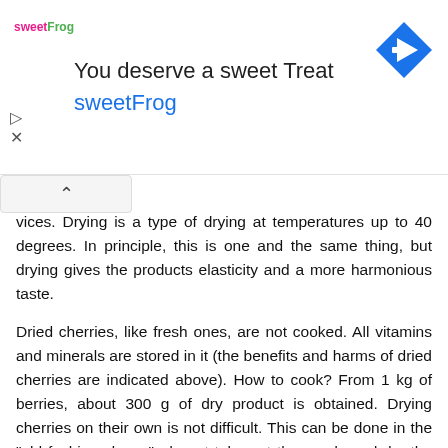[Figure (screenshot): Advertisement banner for sweetFrog frozen yogurt. Contains sweetFrog logo top-left, headline 'You deserve a sweet Treat', 'sweetFrog' subtitle in blue, a blue diamond navigation icon on the right, and play/close controls on the left.]
vices. Drying is a type of drying at temperatures up to 40 degrees. In principle, this is one and the same thing, but drying gives the products elasticity and a more harmonious taste.
Dried cherries, like fresh ones, are not cooked. All vitamins and minerals are stored in it (the benefits and harms of dried cherries are indicated above). How to cook? From 1 kg of berries, about 300 g of dry product is obtained. Drying cherries on their own is not difficult. This can be done in the "old fashioned way": do not take out the seeds and dry the berry in the air until complete loss of moisture. Such cherries go mainly to compotes.
You can make a real treat from cherries. She will go both as a dessert and in baking. Fresh berries are washed, cleaned of stalks, leaves and seeds, and